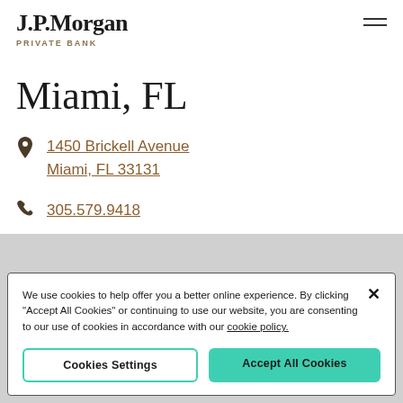J.P.Morgan PRIVATE BANK
Miami, FL
1450 Brickell Avenue Miami, FL 33131
305.579.9418
We use cookies to help offer you a better online experience. By clicking "Accept All Cookies" or continuing to use our website, you are consenting to our use of cookies in accordance with our cookie policy.